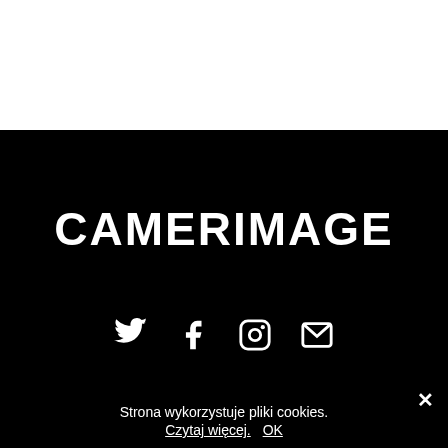[Figure (screenshot): Top white section of webpage]
CAMERIMAGE
[Figure (illustration): Social media icons: Twitter, Facebook, Instagram, Email - white icons on black background]
Strona wykorzystuje pliki cookies. Czytaj więcej. OK